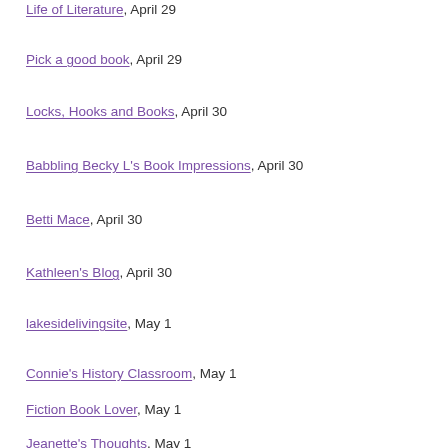Life of Literature, April 29
Pick a good book, April 29
Locks, Hooks and Books, April 30
Babbling Becky L's Book Impressions, April 30
Betti Mace, April 30
Kathleen's Blog, April 30
lakesidelivingsite, May 1
Connie's History Classroom, May 1
Fiction Book Lover, May 1
Jeanette's Thoughts, May 1